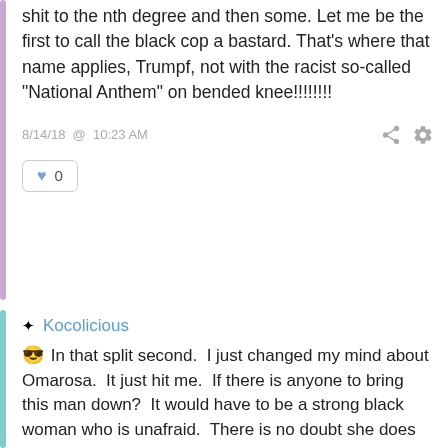shit to the nth degree and then some. Let me be the first to call the black cop a bastard. That's where that name applies, Trumpf, not with the racist so-called "National Anthem" on bended knee!!!!!!!!
8/14/18 @ 10:23 AM
♥ 0
Kocolicious
😎 In that split second.  I just changed my mind about Omarosa.  It just hit me.  If there is anyone to bring this man down?  It would have to be a strong black woman who is unafraid.  There is no doubt she does not fear "him."  All his loud insults....and meanness are nothing more than